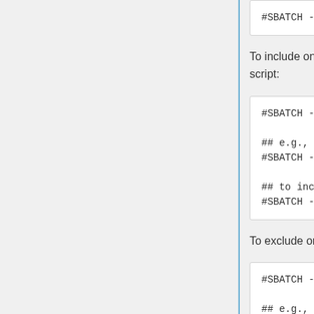#SBATCH -w, --nodelist=c0009
To include one or more nodes that you specifically want, add the following line to your batch script:
#SBATCH --nodelist=<node_names_you_w

## e.g., to include c0006:
#SBATCH --nodelist=c0006

## to include c0006 and c0007 (also
#SBATCH -w c000[6,7]
To exclude one or more nodes, add the following line to your batch script:
#SBATCH -exclude=<node_names_you_wan

## e.g., to avoid c0006 through c000
#SBATCH -exclude=c00[06-08,13]

## to exclude c0006 (also illustrate
#SBATCH -x c0006